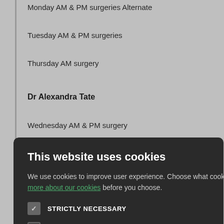Monday AM & PM surgeries Alternate
Tuesday AM & PM surgeries
Thursday AM surgery
Dr Alexandra Tate
Wednesday AM & PM surgery
[Figure (screenshot): Cookie consent modal overlay on a medical practice website. Dark background modal titled 'This website uses cookies' with checkboxes for STRICTLY NECESSARY (checked), PERFORMANCE (unchecked), TARGETING (unchecked), FUNCTIONALITY (unchecked), and two buttons: ACCEPT ALL (green) and DECLINE ALL (outlined white). Behind the modal are partially visible list items about surgery schedules and appointment text. Close button (X) in top right of modal.]
to make an appointment
are always seen
onsultation. If you w
you call.
e of the doctors by:
he NHS App
y before using Patie
The Practice philosophy is that we like to take time when seei